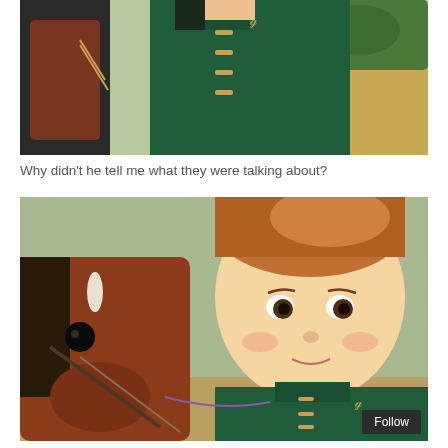[Figure (photo): A doll wearing a dark teal/green military-style jacket with gold toggle buttons, holding reins, with a horse visible in the background. Outdoor setting.]
Why didn't he tell me what they were talking about?
[Figure (photo): Close-up of a red-haired American Girl doll with an upswept hairdo, wearing a teal/green military-style jacket with gold toggle buttons. A brown toy horse with a black mane is visible to the left. Outdoor setting.]